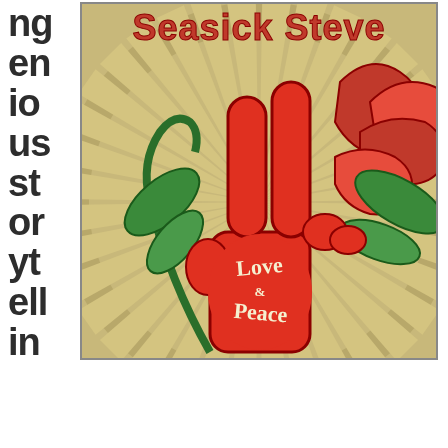ngenious storytellin
[Figure (illustration): Seasick Steve 'Love & Peace' album cover art. A red cartoon hand making a peace sign holding a red rose with green leaves, on a tan/kraft paper background with radiating rays. 'Seasick Steve' text in red at the top, 'Love & Peace' text in cream/white on the hand.]